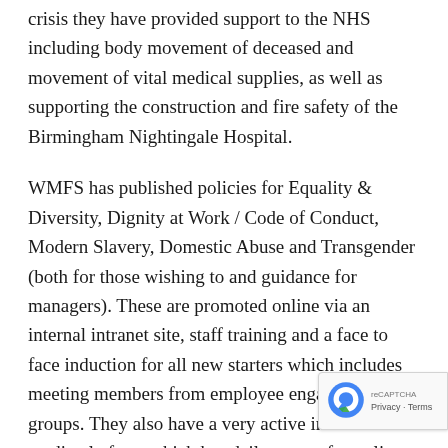crisis they have provided support to the NHS including body movement of deceased and movement of vital medical supplies, as well as supporting the construction and fire safety of the Birmingham Nightingale Hospital.
WMFS has published policies for Equality & Diversity, Dignity at Work / Code of Conduct, Modern Slavery, Domestic Abuse and Transgender (both for those wishing to and guidance for managers). These are promoted online via an internal intranet site, staff training and a face to face induction for all new starters which includes meeting members from employee engagement groups. They also have a very active internal social media platform which has daily posts of equality articles, updates and information relation to Diversity and inclusion. All staff are required to read and confirm that they have read these policies a...